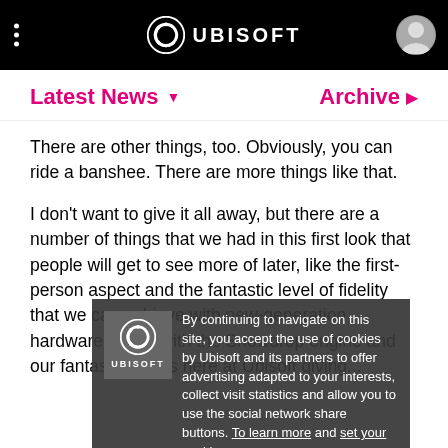UBISOFT
Latest News   Archive
There are other things, too. Obviously, you can ride a banshee. There are more things like that.
I don't want to give it all away, but there are a number of things that we had in this first look that people will get to see more of later, like the first-person aspect and the fantastic level of fidelity that we can achieve with new-generation hardware, along with the Snowdrop engine and our fantastic teams here at Ubisoft giving...
We're able to create a level of immersion that couldn't be achieved before, so those are all the big talking points, and then together with the things that that Jon
By continuing to navigate on this site, you accept the use of cookies by Ubisoft and its partners to offer advertising adapted to your interests, collect visit statistics and allow you to use the social network share buttons. To learn more and set your cookies.